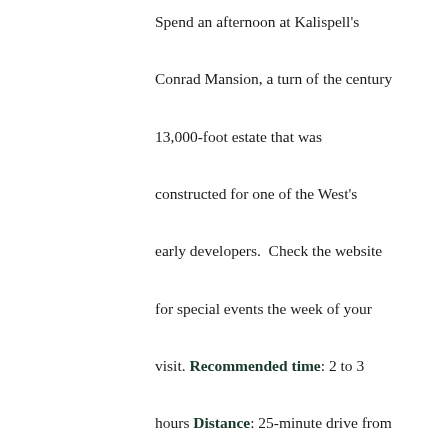Spend an afternoon at Kalispell's Conrad Mansion, a turn of the century 13,000-foot estate that was constructed for one of the West's early developers.  Check the website for special events the week of your visit. Recommended time: 2 to 3 hours Distance: 25-minute drive from Meadow Lake Resort. Cost: $18 per person. Recommended Attire: Nothing special Intensity: Low More Information: Contact